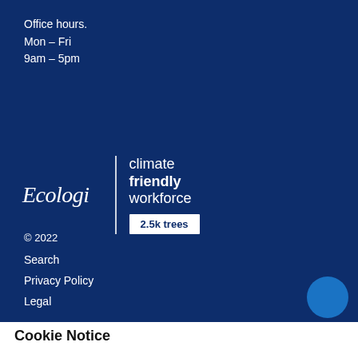Office hours.
Mon – Fri
9am – 5pm
[Figure (logo): Ecologi climate friendly workforce badge showing 2.5k trees planted]
© 2022
Search
Privacy Policy
Legal
Cookie Notice